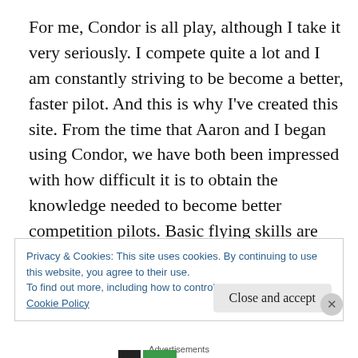For me, Condor is all play, although I take it very seriously. I compete quite a lot and I am constantly striving to be become a better, faster pilot. And this is why I've created this site. From the time that Aaron and I began using Condor, we have both been impressed with how difficult it is to obtain the knowledge needed to become better competition pilots. Basic flying skills are not what I'm talking about. I earned a private pilots license and flew
Privacy & Cookies: This site uses cookies. By continuing to use this website, you agree to their use.
To find out more, including how to control cookies, see here:
Cookie Policy
Close and accept
Advertisements